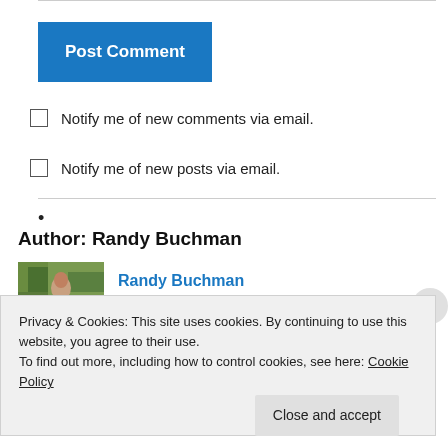Post Comment
Notify me of new comments via email.
Notify me of new posts via email.
Author: Randy Buchman
[Figure (photo): Profile photo of Randy Buchman - person outdoors with greenery]
Randy Buchman
Privacy & Cookies: This site uses cookies. By continuing to use this website, you agree to their use. To find out more, including how to control cookies, see here: Cookie Policy
Close and accept